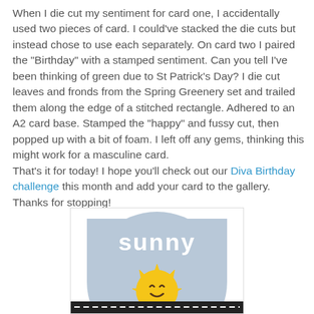When I die cut my sentiment for card one, I accidentally used two pieces of card. I could've stacked the die cuts but instead chose to use each separately. On card two I paired the "Birthday" with a stamped sentiment. Can you tell I've been thinking of green due to St Patrick's Day? I die cut leaves and fronds from the Spring Greenery set and trailed them along the edge of a stitched rectangle. Adhered to an A2 card base. Stamped the "happy" and fussy cut, then popped up with a bit of foam. I left off any gems, thinking this might work for a masculine card.
That's it for today! I hope you'll check out our Diva Birthday challenge this month and add your card to the gallery. Thanks for stopping!
[Figure (illustration): Partially visible card image showing a sunny birthday card with a smiling cartoon sun with rays, text reading 'sunny' in white on a light blue semicircle background, and a black stitched border strip at the bottom.]